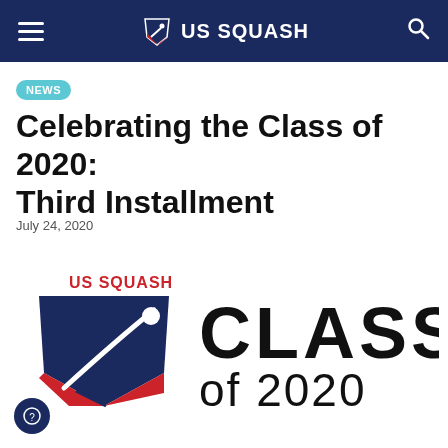US SQUASH
NEWS
Celebrating the Class of 2020: Third Installment
July 24, 2020
[Figure (logo): US SQUASH logo with shield graphic in blue and red, alongside text reading CLASS of 2020 in large bold letters]